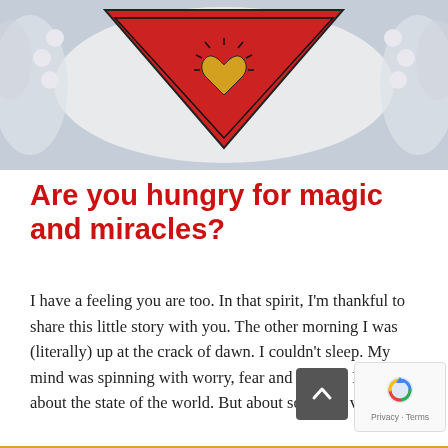[Figure (illustration): Decorative photo/illustration showing a red inverted triangle with a golden heart, on a plate with pearls and ruffle edges, grey background.]
Are you hungry for magic and miracles?
I have a feeling you are too. In that spirit, I'm thankful to share this little story with you. The other morning I was (literally) up at the crack of dawn. I couldn't sleep. My mind was spinning with worry, fear and anxiety. Not just about the state of the world. But about someone very [...]